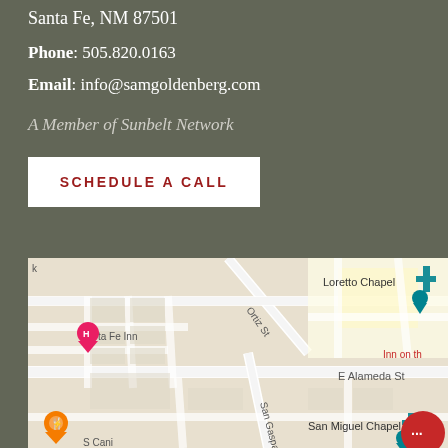Santa Fe, NM 87501
Phone: 505.820.0163
Email: info@samgoldenberg.com
A Member of Sunbelt Network
SCHEDULE A CALL
[Figure (map): Google Maps showing area around Santa Fe, NM with landmarks including Loretto Chapel, Santa Fe Inn, San Miguel Chapel, E Alameda St, Ortiz St, San Gaspar Ave, and S Cani... street visible]